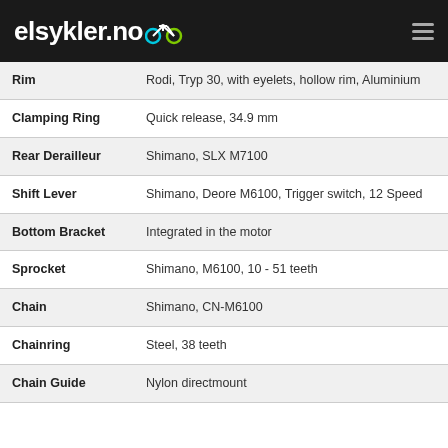elsykler.no
| Component | Specification |
| --- | --- |
| Rim | Rodi, Tryp 30, with eyelets, hollow rim, Aluminium |
| Clamping Ring | Quick release, 34.9 mm |
| Rear Derailleur | Shimano, SLX M7100 |
| Shift Lever | Shimano, Deore M6100, Trigger switch, 12 Speed |
| Bottom Bracket | Integrated in the motor |
| Sprocket | Shimano, M6100, 10 - 51 teeth |
| Chain | Shimano, CN-M6100 |
| Chainring | Steel, 38 teeth |
| Chain Guide | Nylon directmount |